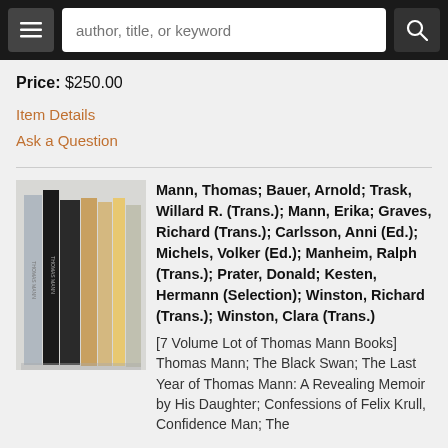[Figure (screenshot): Top navigation bar with hamburger menu button, search input field placeholder 'author, title, or keyword', and search icon button on dark background]
Price: $250.00
Item Details
Ask a Question
[Figure (photo): Photo of 7 books standing upright including Thomas Mann titles with varied spines]
Mann, Thomas; Bauer, Arnold; Trask, Willard R. (Trans.); Mann, Erika; Graves, Richard (Trans.); Carlsson, Anni (Ed.); Michels, Volker (Ed.); Manheim, Ralph (Trans.); Prater, Donald; Kesten, Hermann (Selection); Winston, Richard (Trans.); Winston, Clara (Trans.)
[7 Volume Lot of Thomas Mann Books] Thomas Mann; The Black Swan; The Last Year of Thomas Mann: A Revealing Memoir by His Daughter; Confessions of Felix Krull, Confidence Man; The